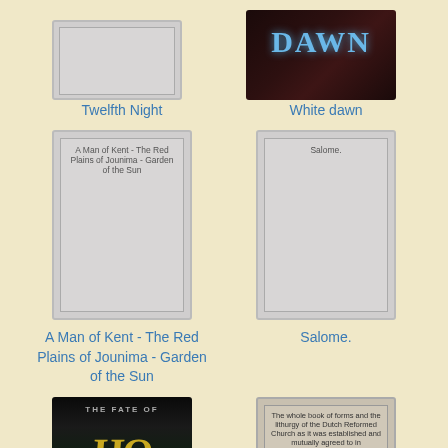[Figure (illustration): Book cover placeholder for Twelfth Night - gray rectangle]
Twelfth Night
[Figure (illustration): Book cover for White dawn - dark background with blue DAWN text]
White dawn
[Figure (illustration): Book cover placeholder for A Man of Kent - The Red Plains of Jounima - Garden of the Sun]
A Man of Kent - The Red Plains of Jounima - Garden of the Sun
[Figure (illustration): Book cover placeholder for Salome.]
Salome.
[Figure (illustration): Book cover for The Fate of - dark cover with golden letters and city lights]
[Figure (illustration): Book cover for Dutch Reformed Church liturgy book - beige/gray cover with text]